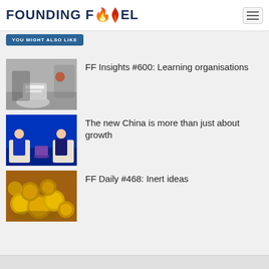FOUNDING FUEL
YOU MIGHT ALSO LIKE
[Figure (photo): Black and white photo of person walking on wet pavement wearing Nike sneakers, with cars in background]
FF Insights #600: Learning organisations
[Figure (photo): Two men in dark suits seated on stage at a conference with blue background]
The new China is more than just about growth
[Figure (photo): Pile of gold coins and nuggets]
FF Daily #468: Inert ideas